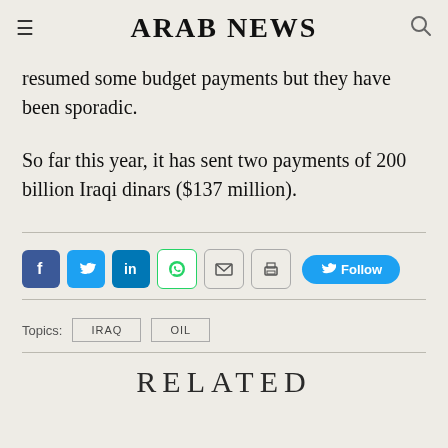ARAB NEWS
resumed some budget payments but they have been sporadic.
So far this year, it has sent two payments of 200 billion Iraqi dinars ($137 million).
[Figure (other): Social sharing bar with Facebook, Twitter, LinkedIn, WhatsApp, Email, Print icons, and a Follow button]
Topics: IRAQ  OIL
RELATED